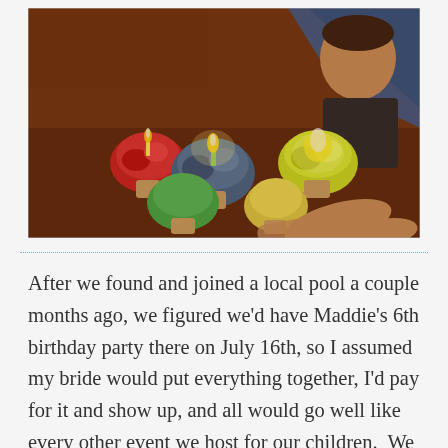[Figure (photo): Colorful frosted cupcakes with lit candles on a wooden table; a young boy watches in background; a hand reaches toward the cupcakes; warm dim lighting.]
After we found and joined a local pool a couple months ago, we figured we'd have Maddie's 6th birthday party there on July 16th, so I assumed my bride would put everything together, I'd pay for it and show up, and all would go well like every other event we host for our children.  We went to the lake for a week, and then I went to Spain for several days.  And then we realized her birthday was a few days away, and we'd told no one about it.  At least I'd booked the